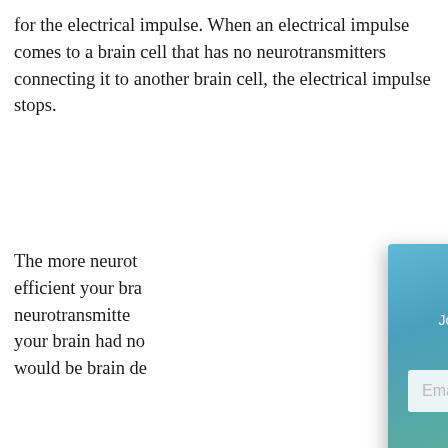for the electrical impulse. When an electrical impulse comes to a brain cell that has no neurotransmitters connecting it to another brain cell, the electrical impulse stops.
The more neurotransmitters you have, the more efficient your brain is. If you had no neurotransmitters in your brain... If your brain had no neurotransmitters at all, the result would be brain death.
So, what does sleep have to do with all of this?
You have four dimensions of sleep: Alpha, Theta, Beta, Gamma, and Delta. During the slow and deep dimensions of sleep (Theta and Delta), your brain goes into restoration mode. It begins utilizing amino acids and other chemical substances to manufacture neurotransmitters. It is to replace the w...
[Figure (screenshot): Email sign-up modal overlay with gradient blue-green background. Title reads 'Sign Up For U' (partially visible). Subtitle reads 'Join our email list to receive upo... discount offer...' An email input field and a SUBMIT button are shown.]